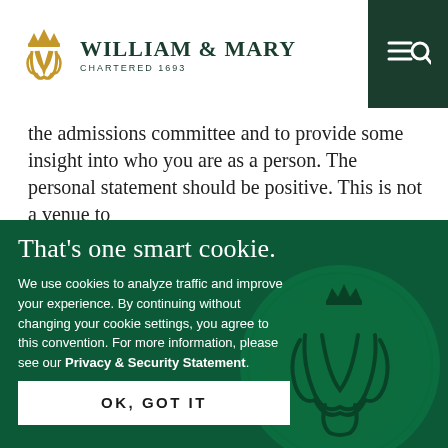[Figure (logo): William & Mary university logo with golden monogram icon and text 'William & Mary Chartered 1693' on white header bar with dark green navigation icons on right]
the admissions committee and to provide some insight into who you are as a person. The personal statement should be positive. This is not a venue to
[Figure (infographic): Cookie consent overlay on dark green background with William & Mary wax seal. Headline: 'That's one smart cookie.' Body text about cookie policy with Privacy & Security Statement link and OK, GOT IT button.]
That's one smart cookie.
We use cookies to analyze traffic and improve your experience. By continuing without changing your cookie settings, you agree to this convention. For more information, please see our Privacy & Security Statement.